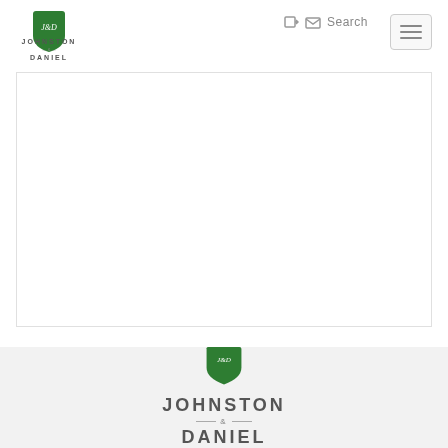[Figure (logo): Johnston & Daniel shield logo (small) in navigation bar, green shield with J&D monogram]
[Figure (logo): Navigation icons: login arrow icon, mail envelope icon, Search text]
[Figure (screenshot): Hamburger menu button (three horizontal lines) in top right corner]
[Figure (other): Large white content area box with light border]
[Figure (logo): Johnston & Daniel large centered logo on gray background, green shield with J&D monogram above text JOHNSTON & DANIEL]